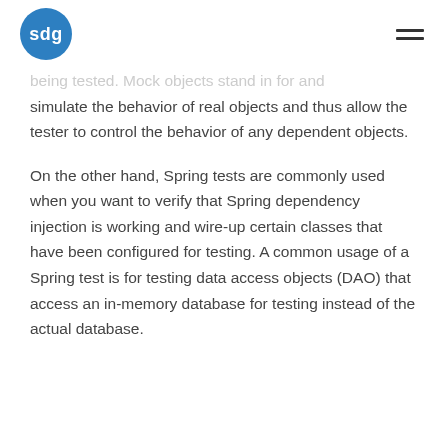sdg
being tested. Mock objects stand in for and simulate the behavior of real objects and thus allow the tester to control the behavior of any dependent objects.
On the other hand, Spring tests are commonly used when you want to verify that Spring dependency injection is working and wire-up certain classes that have been configured for testing. A common usage of a Spring test is for testing data access objects (DAO) that access an in-memory database for testing instead of the actual database.